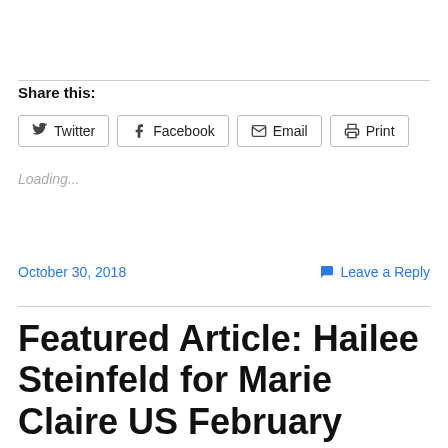Share this:
Twitter | Facebook | Email | Print
Loading...
October 30, 2018
Leave a Reply
Featured Article: Hailee Steinfeld for Marie Claire US February 2018